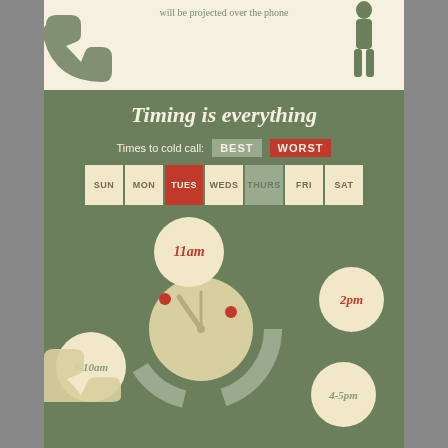will be projected over the phone
[Figure (infographic): Timing is everything infographic showing best and worst times to cold call. Days of the week grid with Tuesday highlighted as worst (red) and Thursday highlighted as best (teal). A clock graphic shows 11am and 2pm as best times (red bubbles) and 8-10am and 4-5pm as worst times (cream bubbles).]
Timing is everything
Times to cold call:  BEST  WORST
SUN  MON  TUES  WEDS  THURS  FRI  SAT
11am
2pm
8-10am
4-5pm
How to be positive